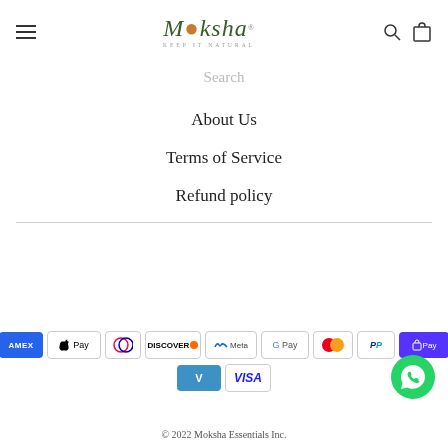Moksha — KEEP IT NATURAL
Search
About Us
Terms of Service
Refund policy
[Figure (other): Payment method icons: American Express, Apple Pay, Diners Club, Discover, Meta Pay, Google Pay, Mastercard, PayPal, Shop Pay, Venmo, Visa]
© 2022 Moksha Essentials Inc.